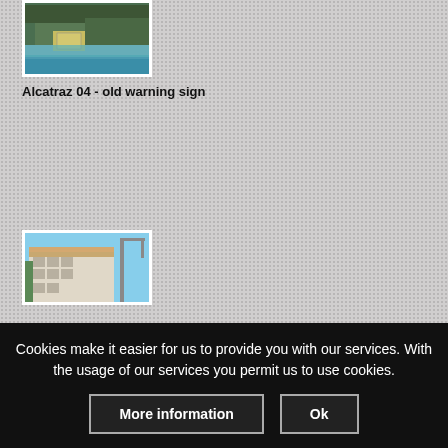[Figure (photo): Photograph of Alcatraz island shoreline with old warning sign visible among trees above the waterline, with blue-green water in foreground]
Alcatraz 04 - old warning sign
[Figure (photo): Photograph of Alcatraz island showing a large white building (prison) with trees and a crane visible against a blue sky]
Cookies make it easier for us to provide you with our services. With the usage of our services you permit us to use cookies.
More information
Ok